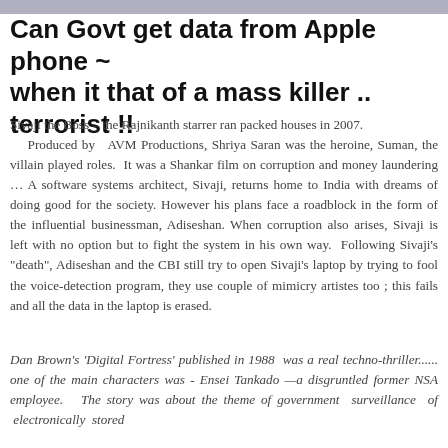Can Govt get data from Apple phone ~ when it that of a mass killer .. terrorist !!
Sivaji the Boss – the Rajnikanth starrer ran packed houses in 2007.  Produced by  AVM Productions, Shriya Saran was the heroine, Suman, the villain played roles.  It was a Shankar film on corruption and money laundering … A software systems architect, Sivaji, returns home to India with dreams of doing good for the society.  However his plans face a roadblock in the form of the influential businessman, Adiseshan.  When corruption also arises, Sivaji is left with no option but to fight the system in his own way.  Following Sivaji's "death", Adiseshan and the CBI still try to open Sivaji's laptop by trying to fool the voice-detection program, they use couple of mimicry artistes too ; this fails and all the data in the laptop is erased.
Dan Brown's 'Digital Fortress' published in 1988  was a real techno-thriller...... one of the main characters was - Ensei Tankado —a disgruntled former NSA employee.  The story was about the theme of government  surveillance  of  electronically  stored